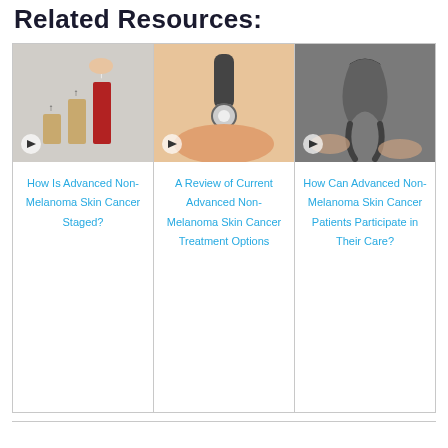Related Resources:
[Figure (photo): Hand stacking wooden blocks with upward arrows, suggesting growth stages — thumbnail with play icon]
How Is Advanced Non-Melanoma Skin Cancer Staged?
[Figure (photo): Dermatoscope being used on skin — medical examination thumbnail with play icon]
A Review of Current Advanced Non-Melanoma Skin Cancer Treatment Options
[Figure (photo): Hands holding a grey/black cancer awareness ribbon thumbnail with play icon]
How Can Advanced Non-Melanoma Skin Cancer Patients Participate in Their Care?